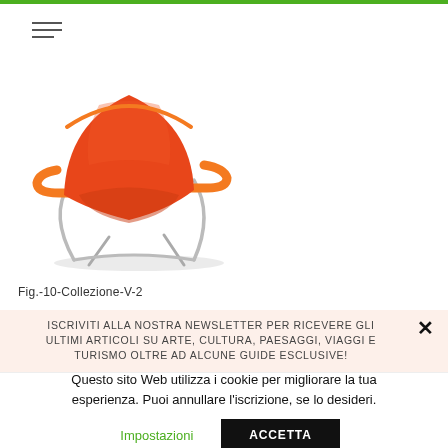[Figure (photo): Orange/red modern designer lounge chair with curved steel legs and orange upholstered seat, backrest and armrests.]
Fig.-10-Collezione-V-2
ISCRIVITI ALLA NOSTRA NEWSLETTER PER RICEVERE GLI ULTIMI ARTICOLI SU ARTE, CULTURA, PAESAGGI, VIAGGI E TURISMO OLTRE AD ALCUNE GUIDE ESCLUSIVE!
Questo sito Web utilizza i cookie per migliorare la tua esperienza. Puoi annullare l'iscrizione, se lo desideri.
Impostazioni
ACCETTA